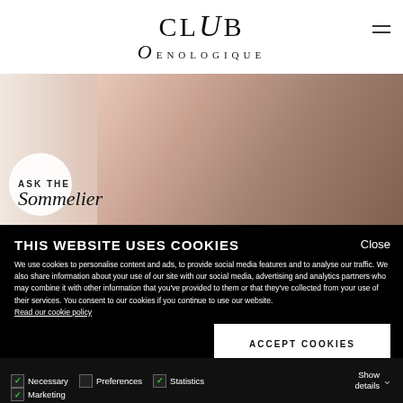CLUB OENOLOGIQUE
[Figure (photo): Photo of a person in a pink blazer, with text overlay reading ASK THE Sommelier]
THIS WEBSITE USES COOKIES
We use cookies to personalise content and ads, to provide social media features and to analyse our traffic. We also share information about your use of our site with our social media, advertising and analytics partners who may combine it with other information that you've provided to them or that they've collected from your use of their services. You consent to our cookies if you continue to use our website. Read our cookie policy
ACCEPT COOKIES
Necessary  Preferences  Statistics  Marketing  Show details